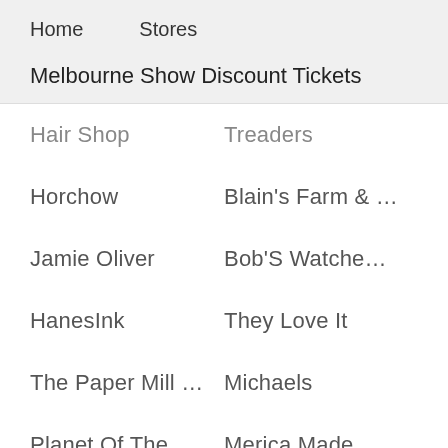Home    Stores
Melbourne Show Discount Tickets
Hair Shop
Treaders
Horchow
Blain's Farm & ...
Jamie Oliver
Bob'S Watche...
HanesInk
They Love It
The Paper Mill ...
Michaels
Planet Of The ...
Merica Made
Ann Taylor
Wigtypes
Columbia Spor
EHarmony